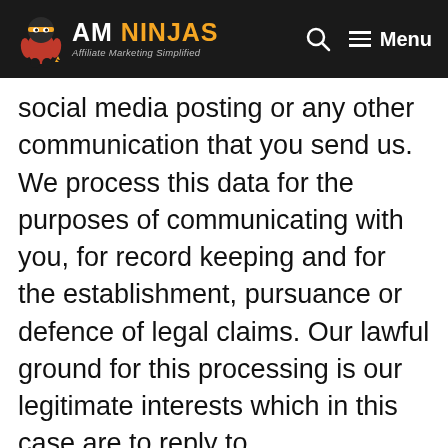AM NINJAS — Affiliate Marketing Simplified
social media posting or any other communication that you send us. We process this data for the purposes of communicating with you, for record keeping and for the establishment, pursuance or defence of legal claims. Our lawful ground for this processing is our legitimate interests which in this case are to reply to communications sent to us, to keep records and to establish, pursue or defend legal claims.